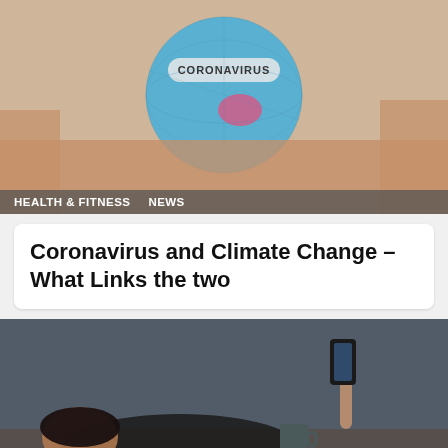[Figure (photo): Hands holding a small globe with 'CORONAVIRUS' text on it, blue globe with pink highlighted Australia region]
HEALTH & FITNESS   NEWS
Coronavirus and Climate Change – What Links the two
[Figure (photo): Woman lying on a bed/couch, looking at a phone held in her hand, with a dark mug nearby, indoor setting]